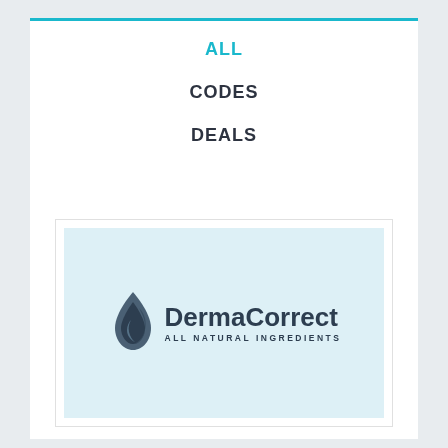ALL
CODES
DEALS
[Figure (logo): DermaCorrect logo with a water droplet flame icon and text 'DermaCorrect ALL NATURAL INGREDIENTS' on a light blue background]